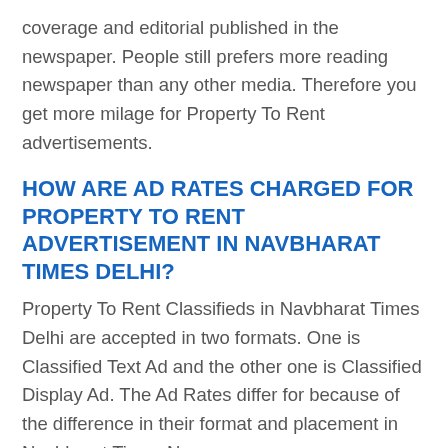coverage and editorial published in the newspaper. People still prefers more reading newspaper than any other media. Therefore you get more milage for Property To Rent advertisements.
HOW ARE AD RATES CHARGED FOR PROPERTY TO RENT ADVERTISEMENT IN NAVBHARAT TIMES DELHI?
Property To Rent Classifieds in Navbharat Times Delhi are accepted in two formats. One is Classified Text Ad and the other one is Classified Display Ad. The Ad Rates differ for because of the difference in their format and placement in Navbharat Times Newspaper.